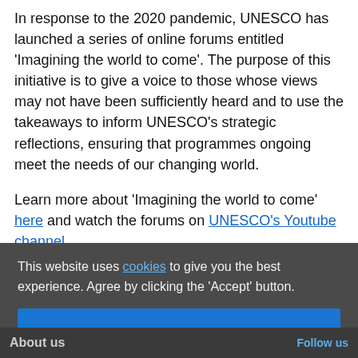In response to the 2020 pandemic, UNESCO has launched a series of online forums entitled 'Imagining the world to come'. The purpose of this initiative is to give a voice to those whose views may not have been sufficiently heard and to use the takeaways to inform UNESCO's strategic reflections, ensuring that programmes ongoing meet the needs of our changing world.
Learn more about 'Imagining the world to come' here and watch the forums on UNESCO's Youtube channel.
This website uses cookies to give you the best experience. Agree by clicking the 'Accept' button.
Accept cookies
About us | Follow us